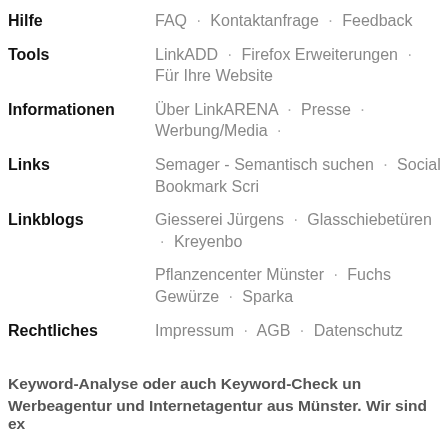Hilfe · FAQ · Kontaktanfrage · Feedback
Tools · LinkADD · Firefox Erweiterungen · Für Ihre Website
Informationen · Über LinkARENA · Presse · Werbung/Media
Links · Semager - Semantisch suchen · Social Bookmark Script
Linkblogs · Giesserei Jürgens · Glasschiebetüren · Kreyenbom
Pflanzencenter Münster · Fuchs Gewürze · Sparka
Rechtliches · Impressum · AGB · Datenschutz
Keyword-Analyse oder auch Keyword-Check un
Werbeagentur und Internetagentur aus Münster. Wir sind ex